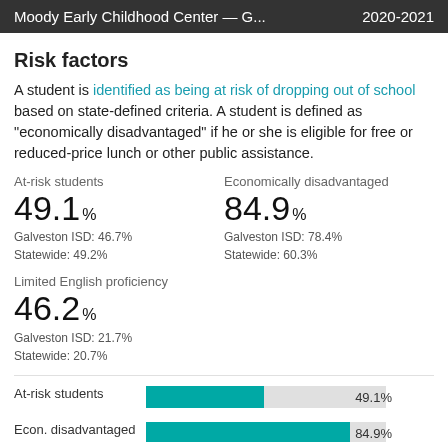Moody Early Childhood Center — G...  2020-2021
Risk factors
A student is identified as being at risk of dropping out of school based on state-defined criteria. A student is defined as "economically disadvantaged" if he or she is eligible for free or reduced-price lunch or other public assistance.
At-risk students
49.1%
Galveston ISD: 46.7%
Statewide: 49.2%
Economically disadvantaged
84.9%
Galveston ISD: 78.4%
Statewide: 60.3%
Limited English proficiency
46.2%
Galveston ISD: 21.7%
Statewide: 20.7%
[Figure (bar-chart): Risk factors bar chart]